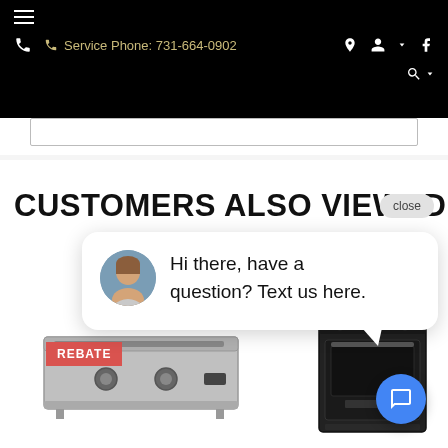≡  Service Phone: 731-664-0902  📍  👤▾  f  🔍▾
CUSTOMERS ALSO VIEWED
close
Hi there, have a question? Text us here.
REBATE
[Figure (photo): Stainless steel built-in grill/appliance product image]
[Figure (photo): Black kitchen appliance (oven/range) product image]